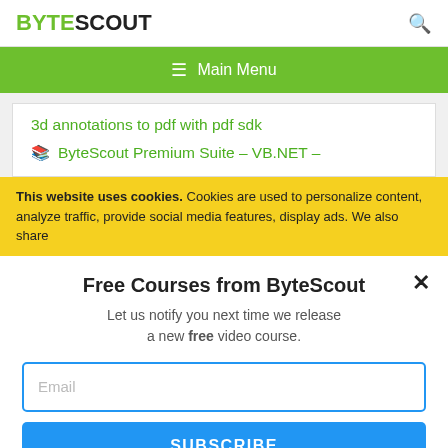BYTESCOUT
≡  Main Menu
3d annotations to pdf with pdf sdk
ByteScout Premium Suite – VB.NET –
This website uses cookies. Cookies are used to personalize content, analyze traffic, provide social media features, display ads. We also share
Free Courses from ByteScout
Let us notify you next time we release a new free video course.
Email
SUBSCRIBE